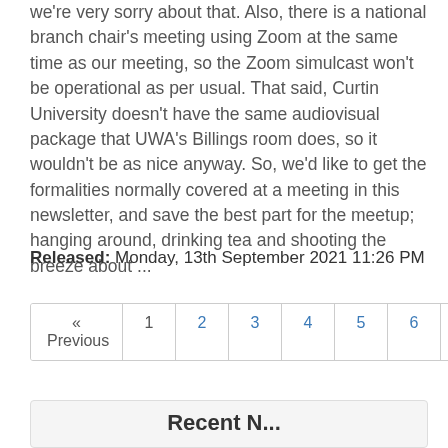we're very sorry about that. Also, there is a national branch chair's meeting using Zoom at the same time as our meeting, so the Zoom simulcast won't be operational as per usual.  That said, Curtin University doesn't have the same audiovisual package that UWA's Billings room does, so it wouldn't be as nice anyway.  So, we'd like to get the formalities normally covered at a meeting in this newsletter, and save the best part for the meetup; hanging around, drinking tea and shooting the breeze about ...
Released: Monday, 13th September 2021 11:26 PM
« Previous  1  2  3  4  5  6  Next »